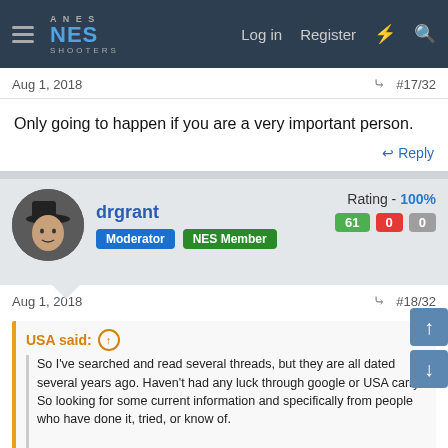NES SHOOTERS — Log in Register
Aug 1, 2018   #17/32
Only going to happen if you are a very important person.
Reply
drgrant   Rating - 100%   Moderator   NES Member   61  0  0
Aug 1, 2018   #18/32
USA said:
So I've searched and read several threads, but they are all dated several years ago. Haven't had any luck through google or USA carry. So looking for some current information and specifically from people who have done it, tried, or know of.

Does anyone have any experience or know of the process for getting a NJ NON Resident permit?